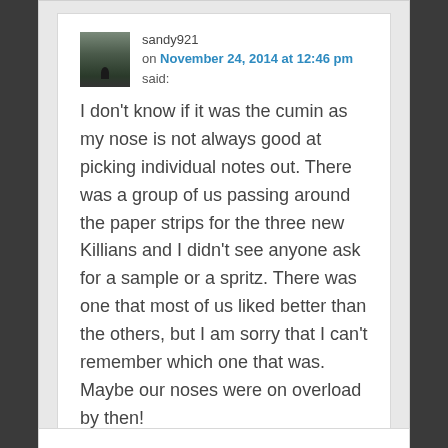sandy921
on November 24, 2014 at 12:46 pm said:
I don't know if it was the cumin as my nose is not always good at picking individual notes out. There was a group of us passing around the paper strips for the three new Killians and I didn't see anyone ask for a sample or a spritz. There was one that most of us liked better than the others, but I am sorry that I can't remember which one that was. Maybe our noses were on overload by then!